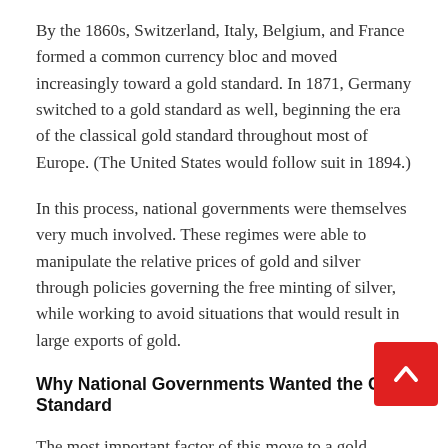By the 1860s, Switzerland, Italy, Belgium, and France formed a common currency bloc and moved increasingly toward a gold standard. In 1871, Germany switched to a gold standard as well, beginning the era of the classical gold standard throughout most of Europe. (The United States would follow suit in 1894.)
In this process, national governments were themselves very much involved. These regimes were able to manipulate the relative prices of gold and silver through policies governing the free minting of silver, while working to avoid situations that would result in large exports of gold.
Why National Governments Wanted the Gold Standard
The most important factor of this move to a gold standard was less in the fact it was an embrace of gold per se, and more in the fact that it was an embrace of a common monetary standard...